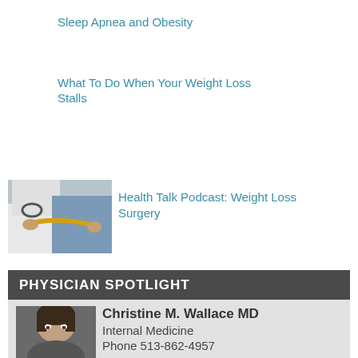Sleep Apnea and Obesity
What To Do When Your Weight Loss Stalls
[Figure (photo): Doctor measuring patient's waist with a yellow measuring tape]
Health Talk Podcast: Weight Loss Surgery
PHYSICIAN SPOTLIGHT
[Figure (photo): Headshot photo of Christine M. Wallace MD]
Christine M. Wallace MD
Internal Medicine
Phone 513-862-4957